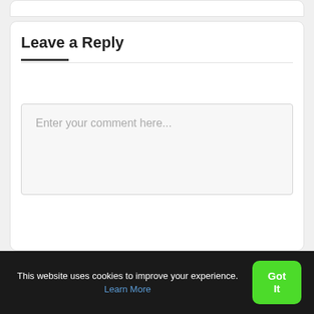Leave a Reply
Enter your comment here...
This website uses cookies to improve your experience. Learn More
Got It